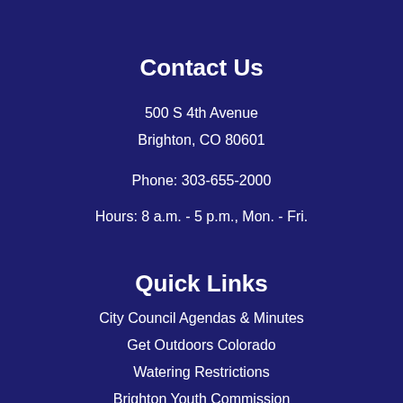Contact Us
500 S 4th Avenue
Brighton, CO 80601
Phone: 303-655-2000
Hours: 8 a.m. - 5 p.m., Mon. - Fri.
Quick Links
City Council Agendas & Minutes
Get Outdoors Colorado
Watering Restrictions
Brighton Youth Commission